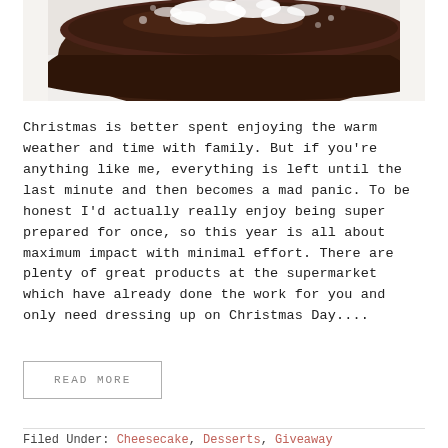[Figure (photo): Close-up photo of a dark chocolate cake topped with powdered sugar (icing sugar) dusted on top, shot from above on a white surface]
Christmas is better spent enjoying the warm weather and time with family. But if you're anything like me, everything is left until the last minute and then becomes a mad panic. To be honest I'd actually really enjoy being super prepared for once, so this year is all about maximum impact with minimal effort. There are plenty of great products at the supermarket which have already done the work for you and only need dressing up on Christmas Day....
READ MORE
Filed Under: Cheesecake, Desserts, Giveaway